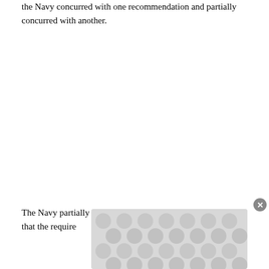the Navy concurred with one recommendation and partially concurred with another.
The Navy partially concurred with GAO's recommendation that the [text continues below ad overlay] require[text continues below ad overlay]